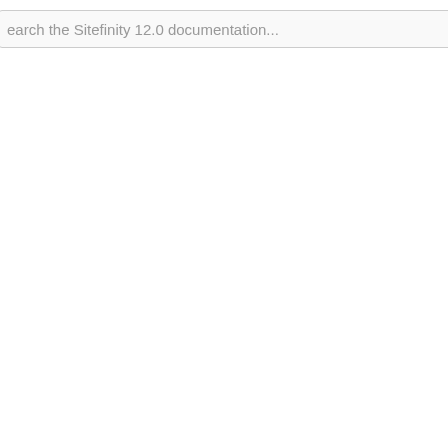Search the Sitefinity 12.0 documentation... [search icon] itef
and co
In case
Want
Sign up
Registe
Was t
Yes